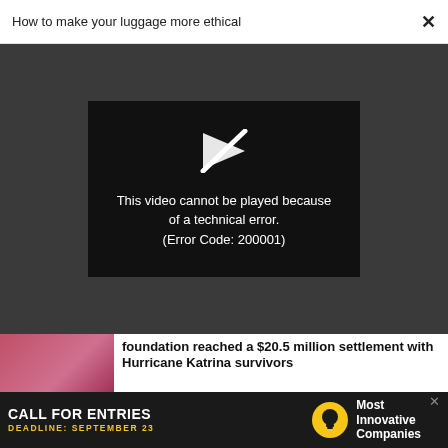How to make your luggage more ethical ×
[Figure (screenshot): Video player error screen on dark gray background showing broken play icon and error message: 'This video cannot be played because of a technical error. (Error Code: 200001)']
foundation reached a $20.5 million settlement with Hurricane Katrina survivors
NEWS
Generation X: the original quiet
[Figure (infographic): Advertisement banner: CALL FOR ENTRIES DEADLINE: SEPTEMBER 23 Most Innovative Companies with lightbulb icon]